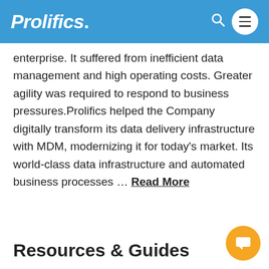Prolifics.
enterprise. It suffered from inefficient data management and high operating costs. Greater agility was required to respond to business pressures.Prolifics helped the Company digitally transform its data delivery infrastructure with MDM, modernizing it for today's market. Its world-class data infrastructure and automated business processes … Read More
[Figure (screenshot): Chat widget popup with Prolifics avatar and message: Hello. How may I help you?]
[Figure (screenshot): Search input box with magnifying glass icon and placeholder text 'Search']
Resources & Guides